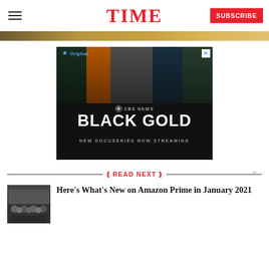TIME
[Figure (photo): Top image strip with golden/brown gradient background]
[Figure (screenshot): CBS News Black Gold advertisement - Paramount Original docuseries. Text: CBS NEWS BLACK GOLD NEW DOCUSERIES NOW STREAMING]
READ NEXT
[Figure (photo): Thumbnail image for Amazon Prime article, appears to be a black and white group photo]
Here's What's New on Amazon Prime in January 2021